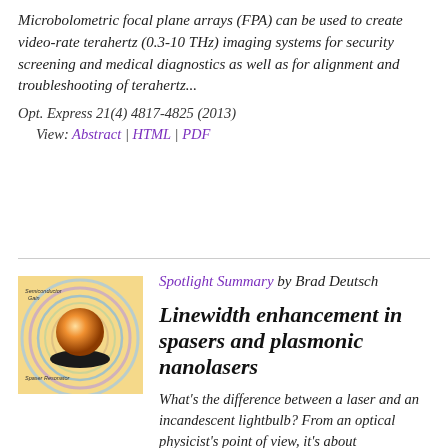Microbolometric focal plane arrays (FPA) can be used to create video-rate terahertz (0.3-10 THz) imaging systems for security screening and medical diagnostics as well as for alignment and troubleshooting of terahertz...
Opt. Express 21(4) 4817-4825 (2013)
View: Abstract | HTML | PDF
[Figure (illustration): Illustration of a spaser/plasmonic nanolaser device with a glowing orange sphere above a dark disk resonator, surrounded by colorful interference pattern rings on a light background, with labels 'Semiconductor Gain' and 'Spaser Resonator'.]
Spotlight Summary by Brad Deutsch
Linewidth enhancement in spasers and plasmonic nanolasers
What's the difference between a laser and an incandescent lightbulb? From an optical physicist's point of view, it's about